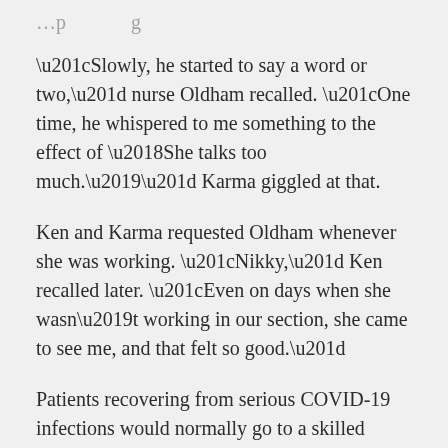[partial heading cut off at top]
“Slowly, he started to say a word or two,” nurse Oldham recalled. “One time, he whispered to me something to the effect of ‘She talks too much.’” Karma giggled at that.
Ken and Karma requested Oldham whenever she was working. “Nikky,” Ken recalled later. “Even on days when she wasn’t working in our section, she came to see me, and that felt so good.”
Patients recovering from serious COVID-19 infections would normally go to a skilled nursing facility for rehabilitation. Ken and Karma wanted to go straight home, though, and their care team agreed.
“They are a bit of an unusual family, just because of their closeness, their devotion to each other, their